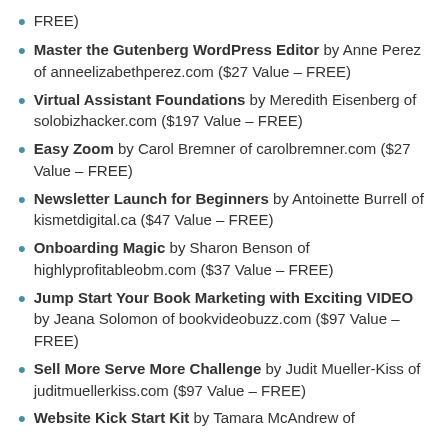FREE)
Master the Gutenberg WordPress Editor by Anne Perez of anneelizabethperez.com ($27 Value – FREE)
Virtual Assistant Foundations by Meredith Eisenberg of solobizhacker.com ($197 Value – FREE)
Easy Zoom by Carol Bremner of carolbremner.com ($27 Value – FREE)
Newsletter Launch for Beginners by Antoinette Burrell of kismetdigital.ca ($47 Value – FREE)
Onboarding Magic by Sharon Benson of highlyprofitableobm.com ($37 Value – FREE)
Jump Start Your Book Marketing with Exciting VIDEO by Jeana Solomon of bookvideobuzz.com ($97 Value – FREE)
Sell More Serve More Challenge by Judit Mueller-Kiss of juditmuellerkiss.com ($97 Value – FREE)
Website Kick Start Kit by Tamara McAndrew of